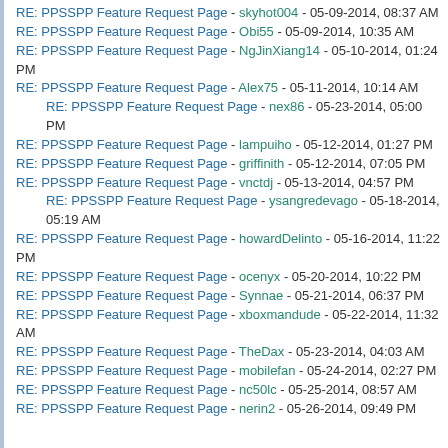RE: PPSSPP Feature Request Page - skyhot004 - 05-09-2014, 08:37 AM
RE: PPSSPP Feature Request Page - Obi55 - 05-09-2014, 10:35 AM
RE: PPSSPP Feature Request Page - NgJinXiang14 - 05-10-2014, 01:24 PM
RE: PPSSPP Feature Request Page - Alex75 - 05-11-2014, 10:14 AM
RE: PPSSPP Feature Request Page - nex86 - 05-23-2014, 05:00 PM
RE: PPSSPP Feature Request Page - lampuiho - 05-12-2014, 01:27 PM
RE: PPSSPP Feature Request Page - griffinith - 05-12-2014, 07:05 PM
RE: PPSSPP Feature Request Page - vnctdj - 05-13-2014, 04:57 PM
RE: PPSSPP Feature Request Page - ysangredevago - 05-18-2014, 05:19 AM
RE: PPSSPP Feature Request Page - howardDelinto - 05-16-2014, 11:22 PM
RE: PPSSPP Feature Request Page - ocenyx - 05-20-2014, 10:22 PM
RE: PPSSPP Feature Request Page - Synnae - 05-21-2014, 06:37 PM
RE: PPSSPP Feature Request Page - xboxmandude - 05-22-2014, 11:32 AM
RE: PPSSPP Feature Request Page - TheDax - 05-23-2014, 04:03 AM
RE: PPSSPP Feature Request Page - mobilefan - 05-24-2014, 02:27 PM
RE: PPSSPP Feature Request Page - nc50lc - 05-25-2014, 08:57 AM
RE: PPSSPP Feature Request Page - nerin2 - 05-26-2014, 09:49 PM